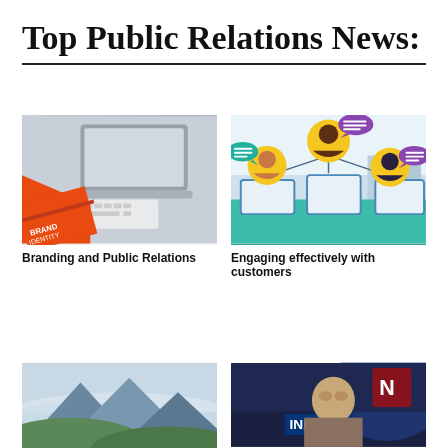Top Public Relations News:
[Figure (photo): Desk with orange Brand Identity card, Apple keyboard, and laptop]
Branding and Public Relations
[Figure (illustration): Colorful illustration of people with speech bubbles in an organizational chart layout]
Engaging effectively with customers
[Figure (photo): Misty mountain landscape with green hills]
[Figure (photo): News presenter man in front of screen showing INFO logo]